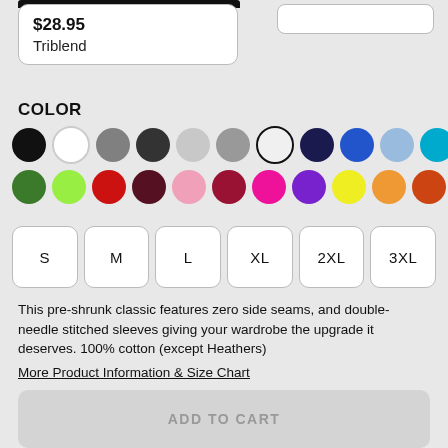$28.95
Triblend
COLOR
[Figure (infographic): Color swatch selector showing two rows of circular color options: Row 1: black, white, dark gray, charcoal, light gray, medium gray, white (selected/outlined), navy, blue, light blue, cyan/teal, green, olive. Row 2: green, lime, red, dark red/maroon, pink, crimson, hot pink, purple, yellow, light orange, orange-red, orange.]
[Figure (infographic): Size selector buttons: S, M, L, XL, 2XL, 3XL]
This pre-shrunk classic features zero side seams, and double-needle stitched sleeves giving your wardrobe the upgrade it deserves. 100% cotton (except Heathers)
More Product Information & Size Chart
ADD TO CART